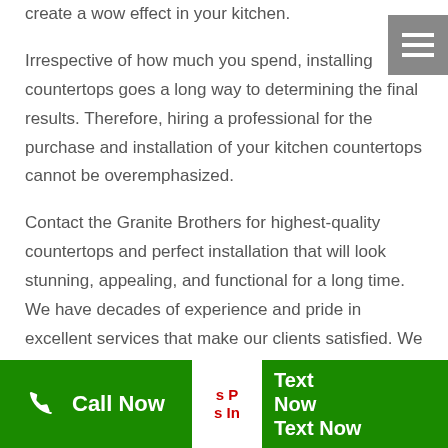countertops are available in a wide variety of designs to create a wow effect in your kitchen.
Irrespective of how much you spend, installing countertops goes a long way to determining the final results. Therefore, hiring a professional for the purchase and installation of your kitchen countertops cannot be overemphasized.
Contact the Granite Brothers for highest-quality countertops and perfect installation that will look stunning, appealing, and functional for a long time. We have decades of experience and pride in excellent services that make our clients satisfied. We look forward to working with you.
Call Now | Text Now